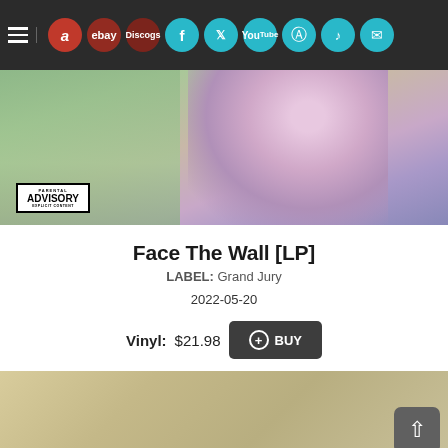[Figure (screenshot): Website navigation bar with hamburger menu, Amazon, eBay, Discogs icons, and social media icons (Facebook, Twitter, YouTube, Instagram, TikTok, Email)]
[Figure (photo): Album cover art for Face The Wall [LP] showing a person in a colorful knit sweater against a green background, with a Parental Advisory Explicit Content badge in the lower left]
Face The Wall [LP]
LABEL: Grand Jury
2022-05-20
Vinyl: $21.98  + BUY
[Figure (photo): Partial view of a second album or record item with a beige/tan textured cover, partially visible at bottom of page]